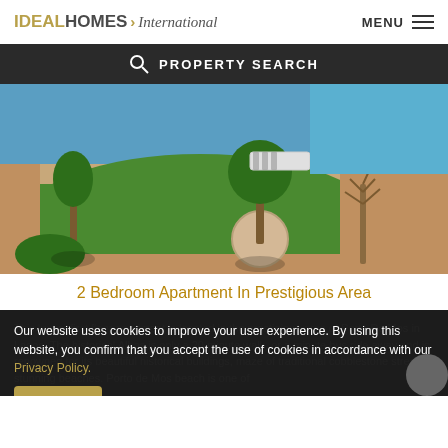IDEAL HOMES International — MENU
PROPERTY SEARCH
[Figure (photo): Aerial view of a lush green garden with trees, bushes, manicured lawn, paved walkways and sun lounger near a pool]
2 Bedroom Apartment In Prestigious Area
This luxury first floor apartment is located in the prestigious area of Porto De Mos in Lagos. The historical Albos is only a 20 minute walk, or a minute bus ride away and is renowned for its beautiful historical buildings, maze of traditional cobblestone streets stunning beaches. Porto de Mos beach is one of
Our website uses cookies to improve your user experience. By using this website, you confirm that you accept the use of cookies in accordance with our Privacy Policy.
I Agree